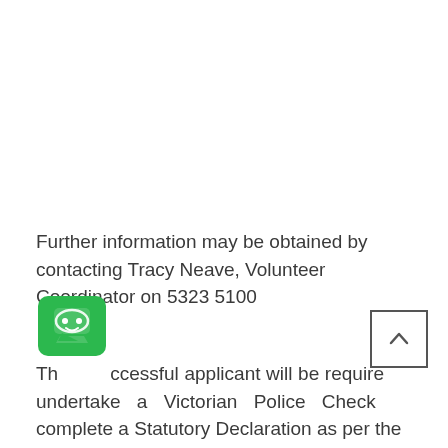Further information may be obtained by contacting Tracy Neave, Volunteer Coordinator on 5323 5100
The successful applicant will be required to undertake a Victorian Police Check and complete a Statutory Declaration as per the